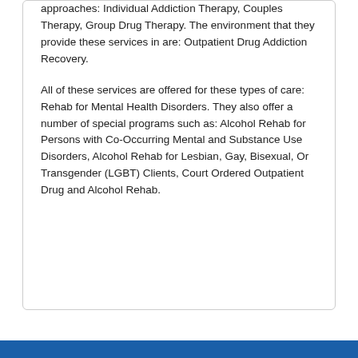approaches: Individual Addiction Therapy, Couples Therapy, Group Drug Therapy. The environment that they provide these services in are: Outpatient Drug Addiction Recovery.
All of these services are offered for these types of care: Rehab for Mental Health Disorders. They also offer a number of special programs such as: Alcohol Rehab for Persons with Co-Occurring Mental and Substance Use Disorders, Alcohol Rehab for Lesbian, Gay, Bisexual, Or Transgender (LGBT) Clients, Court Ordered Outpatient Drug and Alcohol Rehab.